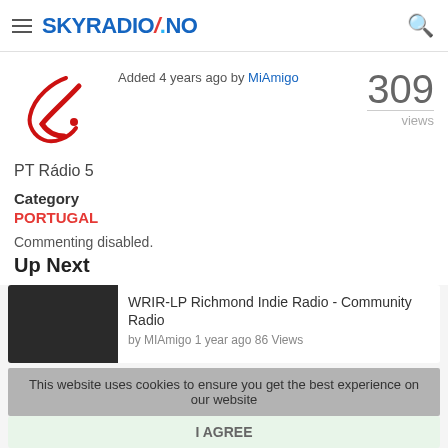SKYRADIO.NO
Added 4 years ago by MiAmigo
309 views
[Figure (logo): PT Rádio 5 logo — red stylized letter K with a dot]
PT Rádio 5
Category
PORTUGAL
Commenting disabled.
Up Next
WRIR-LP Richmond Indie Radio - Community Radio
by MIAmigo 1 year ago 86 Views
KPFT Radio For Peace - Community Radio
This website uses cookies to ensure you get the best experience on our website
I AGREE